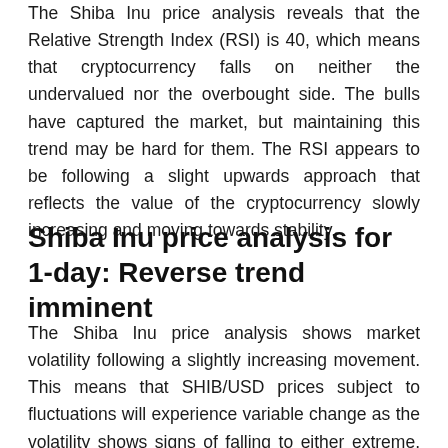The Shiba Inu price analysis reveals that the Relative Strength Index (RSI) is 40, which means that cryptocurrency falls on neither the undervalued nor the overbought side. The bulls have captured the market, but maintaining this trend may be hard for them. The RSI appears to be following a slight upwards approach that reflects the value of the cryptocurrency slowly increasing and moving towards stability.
Shiba Inu price analysis for 1-day: Reverse trend imminent
The Shiba Inu price analysis shows market volatility following a slightly increasing movement. This means that SHIB/USD prices subject to fluctuations will experience variable change as the volatility shows signs of falling to either extreme. The upper limit of the Bollinger's band exists at $0.00003970, which acts as the strongest resistance. The lower limit of the